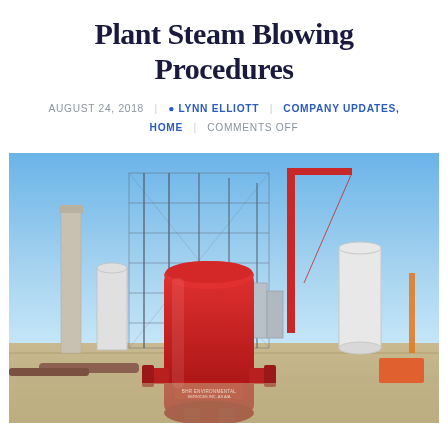Plant Steam Blowing Procedures
AUGUST 24, 2018 | LYNN ELLIOTT | COMPANY UPDATES, HOME | COMMENTS OFF
[Figure (photo): Photograph of a power plant construction site showing a large red cylindrical vessel (silencer/separator) in the foreground, with steel scaffolding structures, a concrete smokestack, white cylindrical tanks, red cranes, and industrial equipment under a clear blue sky.]